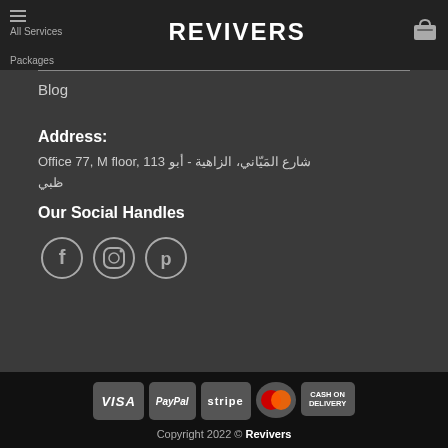REVIVERS — All Services | Packages
Blog
Address:
Office 77, M floor, 113 شارع المَيّاني، الزاهية - أبو ظبي
Our Social Handles
[Figure (other): Social media icons: Facebook, Instagram, Pinterest]
[Figure (other): Payment method badges: VISA, PayPal, stripe, MasterCard, CASH ON DELIVERY]
Copyright 2022 © Revivers